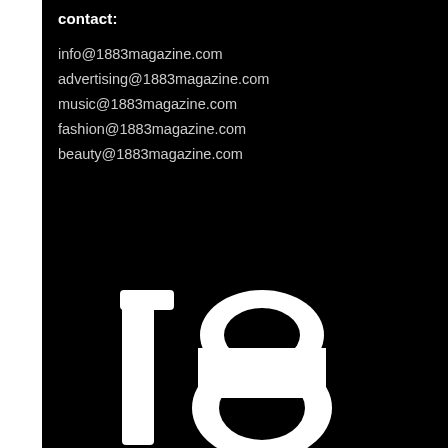contact:
info@1883magazine.com
advertising@1883magazine.com
music@1883magazine.com
fashion@1883magazine.com
beauty@1883magazine.com
[Figure (logo): Large stylized '1883' logo in white on black background, partially cropped, using rounded display numerals]